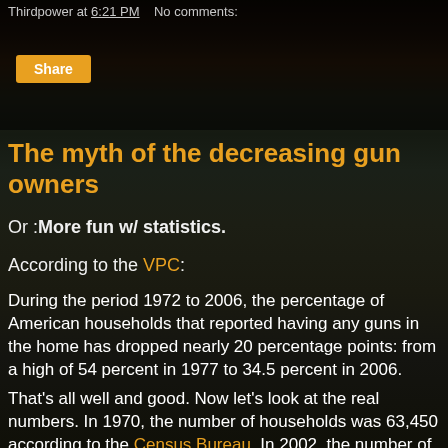Thirdpower at 6:21 PM   No comments:
Share
The myth of the decreasing gun owners
Or :More fun w/ statistics.
According to the VPC:
During the period 1972 to 2006, the percentage of American households that reported having any guns in the home has dropped nearly 20 percentage points: from a high of 54 percent in 1977 to 34.5 percent in 2006.
That's all well and good. Now let's look at the real numbers. In 1970, the number of households was 63,450 according to the Census Bureau. In 2002, the number of households was 111,278.
For those of you math impaired, that's an increase of 75%